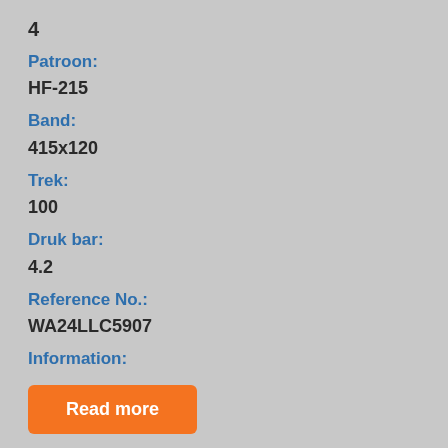4
Patroon:
HF-215
Band:
415x120
Trek:
100
Druk bar:
4.2
Reference No.:
WA24LLC5907
Information:
Read more